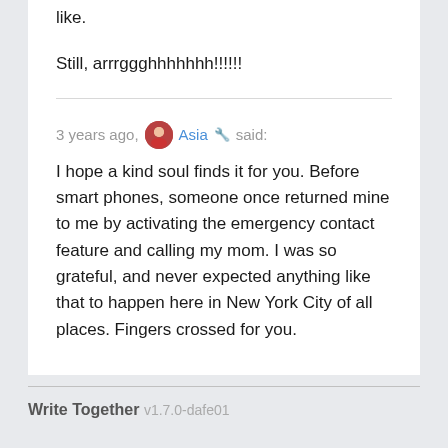like.
Still, arrrggghhhhhhh!!!!!!
3 years ago, Asia 🔧 said:
I hope a kind soul finds it for you. Before smart phones, someone once returned mine to me by activating the emergency contact feature and calling my mom. I was so grateful, and never expected anything like that to happen here in New York City of all places. Fingers crossed for you.
Write Together v1.7.0-dafe01